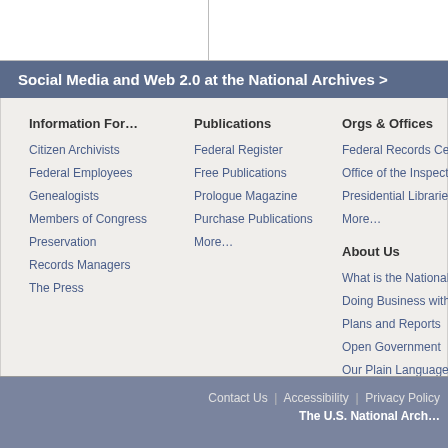Social Media and Web 2.0 at the National Archives >
Information For…
Citizen Archivists
Federal Employees
Genealogists
Members of Congress
Preservation
Records Managers
The Press
Publications
Federal Register
Free Publications
Prologue Magazine
Purchase Publications
More…
Orgs & Offices
Federal Records Center
Office of the Inspector G…
Presidential Libraries
More…
About Us
What is the National Arch…
Doing Business with Us
Plans and Reports
Open Government
Our Plain Language Effo…
Contact Us  |  Accessibility  |  Privacy Policy
The U.S. National Arch…